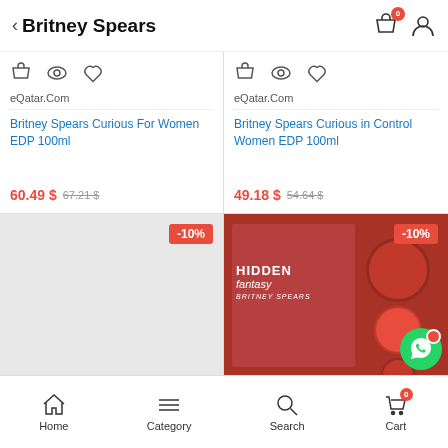< Britney Spears
[Figure (screenshot): Product card 1: eQatar.Com - Britney Spears Curious For Women EDP 100ml, price 60.49 $ (was 67.21 $)]
[Figure (screenshot): Product card 2: eQatar.Com - Britney Spears Curious in Control Women EDP 100ml, price 49.18 $ (was 54.64 $)]
[Figure (screenshot): Product card 3: -10% discount, empty image placeholder]
[Figure (screenshot): Product card 4: -10% discount, Hidden Fantasy Britney Spears perfume product image]
Home  Category  Search  Cart